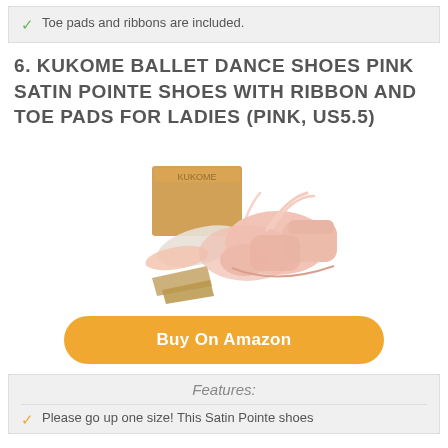Toe pads and ribbons are included.
6. KUKOME BALLET DANCE SHOES PINK SATIN POINTE SHOES WITH RIBBON AND TOE PADS FOR LADIES (PINK, US5.5)
[Figure (photo): Pink satin ballet pointe shoes with ribbons, toe pads, and accessories displayed next to a box.]
Buy On Amazon
Features:
Please go up one size! This Satin Pointe shoes